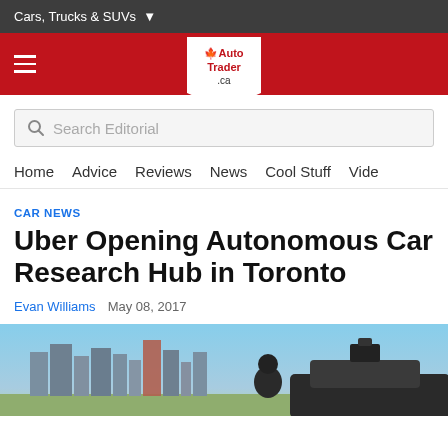Cars, Trucks & SUVs ▾
[Figure (logo): AutoTrader.ca logo in white shield shape on red navigation bar with hamburger menu icon]
Search Editorial
Home   Advice   Reviews   News   Cool Stuff   Vide
CAR NEWS
Uber Opening Autonomous Car Research Hub in Toronto
Evan Williams   May 08, 2017
[Figure (photo): Photo of an autonomous vehicle with sensor equipment on roof, person standing in front, Toronto city skyline in background]